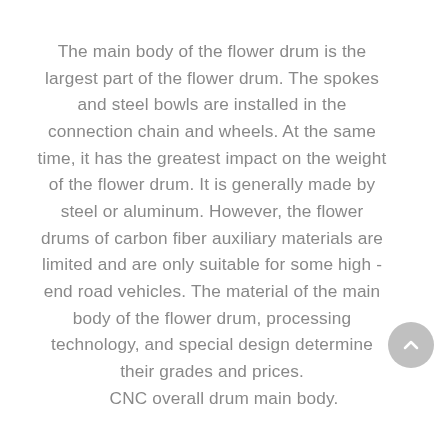The main body of the flower drum is the largest part of the flower drum. The spokes and steel bowls are installed in the connection chain and wheels. At the same time, it has the greatest impact on the weight of the flower drum. It is generally made by steel or aluminum. However, the flower drums of carbon fiber auxiliary materials are limited and are only suitable for some high -end road vehicles. The material of the main body of the flower drum, processing technology, and special design determine their grades and prices.
CNC overall drum main body.